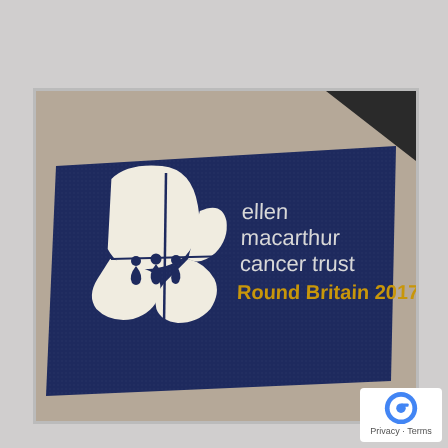[Figure (photo): A photograph of a navy blue branded mat/rug on a floor. The mat displays the Ellen MacArthur Cancer Trust logo on the left (a white stylized butterfly/sail design with small human figures) and white text reading 'ellen macarthur cancer trust' with golden/yellow text 'Round Britain 2017' on the right side.]
[Figure (logo): Google Maps watermark with circular G logo icon and 'Privacy · Terms' text]